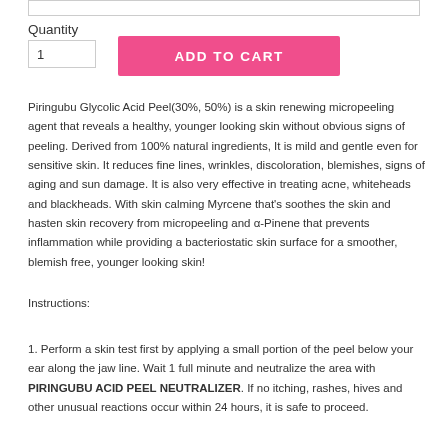Quantity
1
ADD TO CART
Piringubu Glycolic Acid Peel(30%, 50%) is a skin renewing micropeeling agent that reveals a healthy, younger looking skin without obvious signs of peeling. Derived from 100% natural ingredients, It is mild and gentle even for sensitive skin. It reduces fine lines, wrinkles, discoloration, blemishes, signs of aging and sun damage. It is also very effective in treating acne, whiteheads and blackheads. With skin calming Myrcene that's soothes the skin and hasten skin recovery from micropeeling and α-Pinene that prevents inflammation while providing a bacteriostatic skin surface for a smoother, blemish free, younger looking skin!
Instructions:
1. Perform a skin test first by applying a small portion of the peel below your ear along the jaw line. Wait 1 full minute and neutralize the area with PIRINGUBU ACID PEEL NEUTRALIZER. If no itching, rashes, hives and other unusual reactions occur within 24 hours, it is safe to proceed.